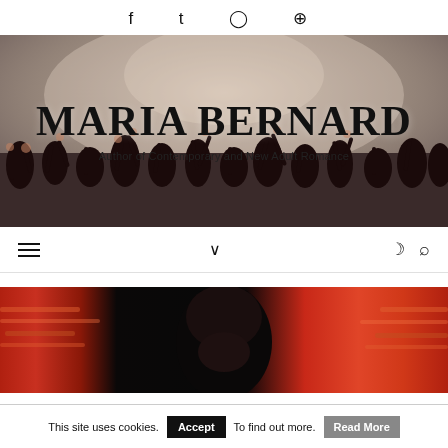f  t  ◯  ⊕
[Figure (photo): Hero banner with concert crowd background, large text overlay reading 'MARIA BERNARD' and subtitle 'Author of Contemporary and New Adult Romance']
MARIA BERNARD
Author of Contemporary and New Adult Romance
[Figure (screenshot): Navigation bar with hamburger menu icon on left, chevron/down arrow in center, moon and search icons on right]
[Figure (photo): Partial book cover image showing a person with dark hair against colorful red/orange abstract background]
This site uses cookies.   Accept   To find out more.   Read More